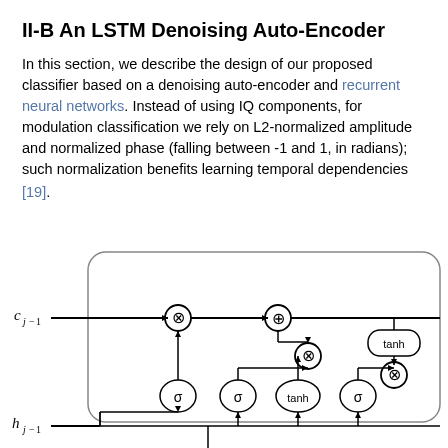II-B An LSTM Denoising Auto-Encoder
In this section, we describe the design of our proposed classifier based on a denoising auto-encoder and recurrent neural networks. Instead of using IQ components, for modulation classification we rely on L2-normalized amplitude and normalized phase (falling between -1 and 1, in radians); such normalization benefits learning temporal dependencies
[19].
[Figure (engineering-diagram): LSTM cell diagram showing c_{j-1} and h_{j-1} inputs, with sigma and tanh activation gates, multiply (⊗) and add (⊕) nodes, and connections representing the LSTM gating mechanism including forget, input, cell, and output gates. The diagram is partially cropped at the bottom.]